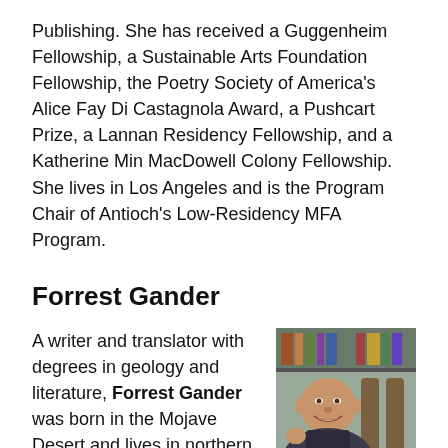Publishing. She has received a Guggenheim Fellowship, a Sustainable Arts Foundation Fellowship, the Poetry Society of America's Alice Fay Di Castagnola Award, a Pushcart Prize, a Lannan Residency Fellowship, and a Katherine Min MacDowell Colony Fellowship. She lives in Los Angeles and is the Program Chair of Antioch's Low-Residency MFA Program.
Forrest Gander
A writer and translator with degrees in geology and literature, Forrest Gander was born in the Mojave Desert and lives in northern California. His books often engage with...
[Figure (photo): Portrait photo of Forrest Gander, a man smiling, seated indoors with bookshelves in background]
Photo by Christopher Chung